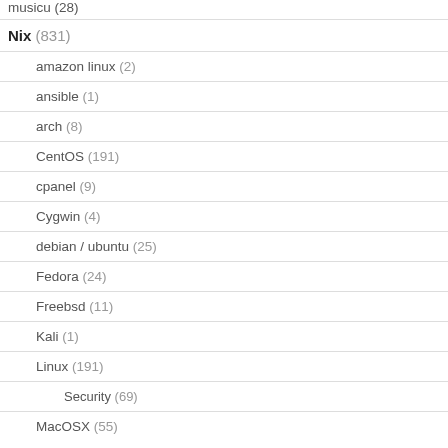musicu (28)
Nix (831)
amazon linux (2)
ansible (1)
arch (8)
CentOS (191)
cpanel (9)
Cygwin (4)
debian / ubuntu (25)
Fedora (24)
Freebsd (11)
Kali (1)
Linux (191)
Security (69)
MacOSX (55)